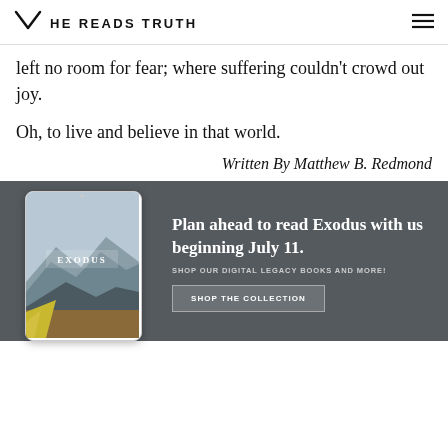HE READS TRUTH
left no room for fear; where suffering couldn't crowd out joy.
Oh, to live and believe in that world.
Written By Matthew B. Redmond
[Figure (infographic): Promotional banner on dark gray background showing a tablet displaying 'EXODUS' cover with mountains, alongside text 'Plan ahead to read Exodus with us beginning July 11. SHOP OUR DIGITAL LEGACY BOOKS AND MORE!' and a 'SHOP THE COLLECTION' button.]